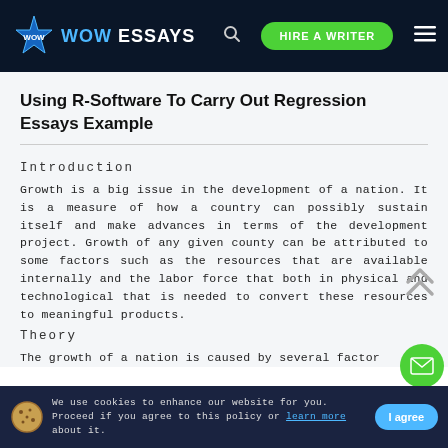WOW ESSAYS | HIRE A WRITER
Using R-Software To Carry Out Regression Essays Example
Introduction
Growth is a big issue in the development of a nation. It is a measure of how a country can possibly sustain itself and make advances in terms of the development project. Growth of any given county can be attributed to some factors such as the resources that are available internally and the labor force that both in physical and technological that is needed to convert these resources to meaningful products.
Theory
The growth of a nation is caused by several factor
We use cookies to enhance our website for you. Proceed if you agree to this policy or learn more about it.